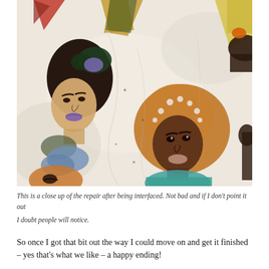[Figure (photo): Close-up photograph of a fabric/textile piece showing illustrated painted or printed figures of diverse women with different hair styles and skin tones on a white/cream background. Multiple female faces and busts visible, one woman with black hair and purple lips on the left, one woman with golden-brown skin and golden-brown hair with white dots in the center-right, partial figures at edges. Appears to be a repaired sewing/craft project.]
This is a close up of the repair after being interfaced. Not bad and if I don't point it out I doubt people will notice.
So once I got that bit out the way I could move on and get it finished – yes that's what we like – a happy ending!